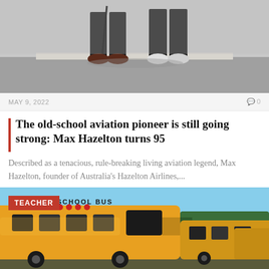[Figure (photo): Photo showing two people standing on pavement, one holding a cane, both dressed in dark clothing, shot from waist down]
MAY 9, 2022
0
The old-school aviation pioneer is still going strong: Max Hazelton turns 95
Described as a tenacious, rule-breaking living aviation legend, Max Hazelton, founder of Australia's Hazelton Airlines,...
[Figure (photo): Photo of a row of yellow school buses parked outdoors with trees in background; a red 'TEACHER' badge overlaid in upper left]